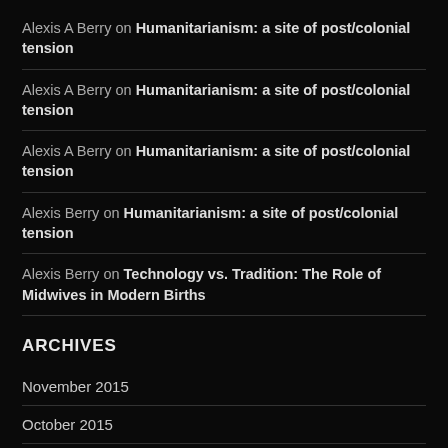Alexis A Berry on Humanitarianism: a site of post/colonial tension
Alexis A Berry on Humanitarianism: a site of post/colonial tension
Alexis A Berry on Humanitarianism: a site of post/colonial tension
Alexis Berry on Humanitarianism: a site of post/colonial tension
Alexis Berry on Technology vs. Tradition: The Role of Midwives in Modern Births
ARCHIVES
November 2015
October 2015
September 2015
July 2015